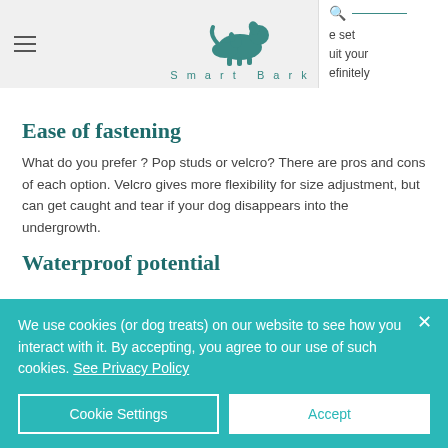Smart Bark — navigation header with hamburger menu, logo, search icon. Partial text visible: 'e set', 'uit your', 'efinitely'
Ease of fastening
What do you prefer ? Pop studs or velcro? There are pros and cons of each option. Velcro gives more flexibility for size adjustment, but can get caught and tear if your dog disappears into the undergrowth.
Waterproof potential
We use cookies (or dog treats) on our website to see how you interact with it. By accepting, you agree to our use of such cookies. See Privacy Policy
Cookie Settings  |  Accept